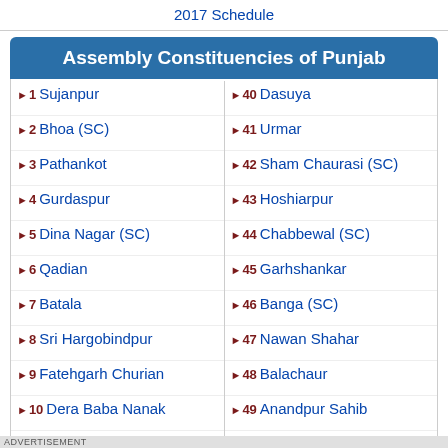2017 Schedule
Assembly Constituencies of Punjab
1 Sujanpur
40 Dasuya
2 Bhoa (SC)
41 Urmar
3 Pathankot
42 Sham Chaurasi (SC)
4 Gurdaspur
43 Hoshiarpur
5 Dina Nagar (SC)
44 Chabbewal (SC)
6 Qadian
45 Garhshankar
7 Batala
46 Banga (SC)
8 Sri Hargobindpur
47 Nawan Shahar
9 Fatehgarh Churian
48 Balachaur
10 Dera Baba Nanak
49 Anandpur Sahib
11 Ajnala
50 Rupnagar
12 Raja Sansi
51 Chamkaur Sahib
13 Majitha
52 Kharar
ADVERTISEMENT